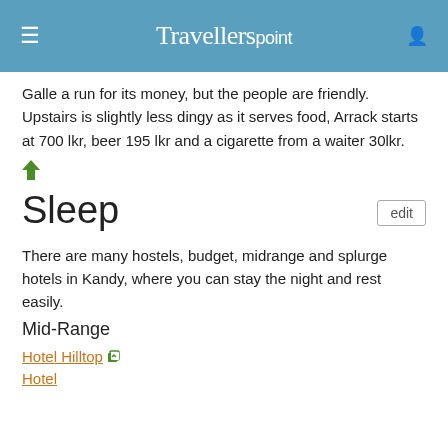Travellerspoint
Galle a run for its money, but the people are friendly. Upstairs is slightly less dingy as it serves food, Arrack starts at 700 lkr, beer 195 lkr and a cigarette from a waiter 30lkr.
Sleep
There are many hostels, budget, midrange and splurge hotels in Kandy, where you can stay the night and rest easily.
Mid-Range
Hotel Hilltop
Hotel
[Figure (screenshot): Advertisement banner showing cartoon figures with text 'Hold and Move']